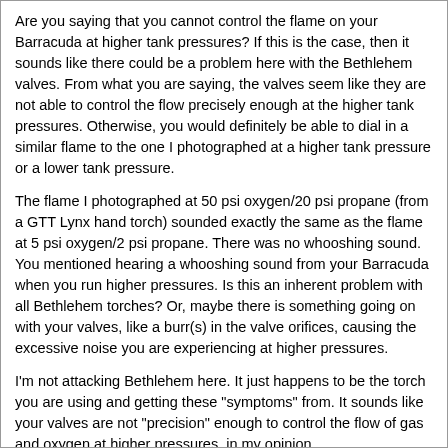Are you saying that you cannot control the flame on your Barracuda at higher tank pressures? If this is the case, then it sounds like there could be a problem here with the Bethlehem valves. From what you are saying, the valves seem like they are not able to control the flow precisely enough at the higher tank pressures. Otherwise, you would definitely be able to dial in a similar flame to the one I photographed at a higher tank pressure or a lower tank pressure.
The flame I photographed at 50 psi oxygen/20 psi propane (from a GTT Lynx hand torch) sounded exactly the same as the flame at 5 psi oxygen/2 psi propane. There was no whooshing sound. You mentioned hearing a whooshing sound from your Barracuda when you run higher pressures. Is this an inherent problem with all Bethlehem torches? Or, maybe there is something going on with your valves, like a burr(s) in the valve orifices, causing the excessive noise you are experiencing at higher pressures.
I'm not attacking Bethlehem here. It just happens to be the torch you are using and getting these "symptoms" from. It sounds like your valves are not "precision" enough to control the flow of gas and oxygen at higher pressures, in my opinion.
As far as the other stuff...
You are looking at a manifold as if it were a bucket. Buckets are big empty chambers. Manifolds are not. Manifolds are a series of channels that direct the fuel and oxgen to their proper ports.
Sure, when you restrict an opening so far, it forces that gas to go